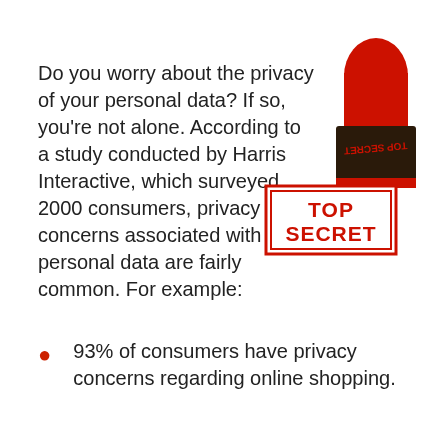Do you worry about the privacy of your personal data? If so, you're not alone. According to a study conducted by Harris Interactive, which surveyed 2000 consumers, privacy concerns associated with personal data are fairly common. For example:
[Figure (illustration): A red rubber stamp with black base showing 'TOP SECRET' text, with the stamp impression showing 'TOP SECRET' in red on white background below it]
93% of consumers have privacy concerns regarding online shopping.